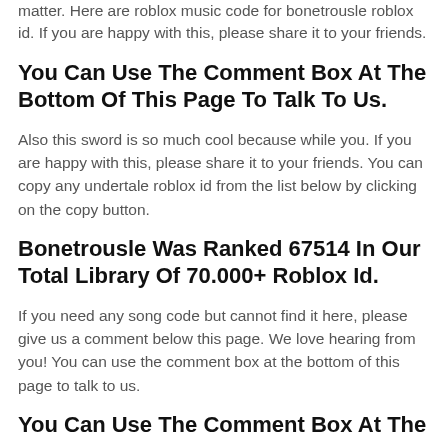matter. Here are roblox music code for bonetrousle roblox id. If you are happy with this, please share it to your friends.
You Can Use The Comment Box At The Bottom Of This Page To Talk To Us.
Also this sword is so much cool because while you. If you are happy with this, please share it to your friends. You can copy any undertale roblox id from the list below by clicking on the copy button.
Bonetrousle Was Ranked 67514 In Our Total Library Of 70.000+ Roblox Id.
If you need any song code but cannot find it here, please give us a comment below this page. We love hearing from you! You can use the comment box at the bottom of this page to talk to us.
You Can Use The Comment Box At The